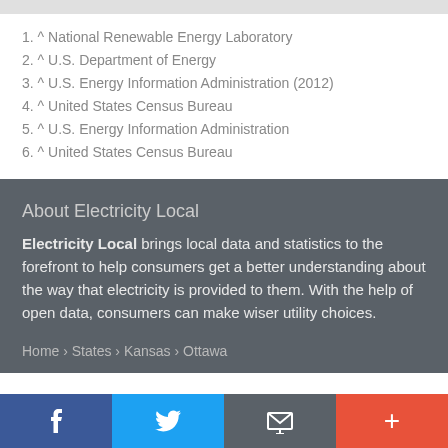1. ^ National Renewable Energy Laboratory
2. ^ U.S. Department of Energy
3. ^ U.S. Energy Information Administration (2012)
4. ^ United States Census Bureau
5. ^ U.S. Energy Information Administration
6. ^ United States Census Bureau
About Electricity Local
Electricity Local brings local data and statistics to the forefront to help consumers get a better understanding about the way that electricity is provided to them. With the help of open data, consumers can make wiser utility choices.
Home › States › Kansas › Ottawa